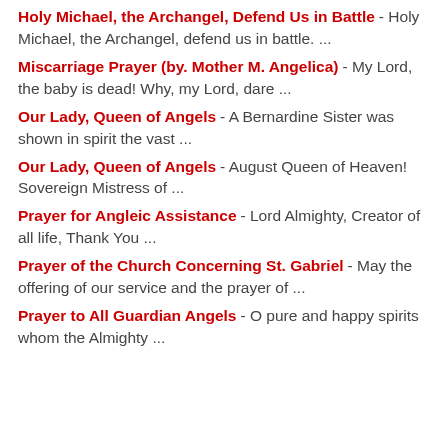Holy Michael, the Archangel, Defend Us in Battle - Holy Michael, the Archangel, defend us in battle. ...
Miscarriage Prayer (by. Mother M. Angelica) - My Lord, the baby is dead! Why, my Lord, dare ...
Our Lady, Queen of Angels - A Bernardine Sister was shown in spirit the vast ...
Our Lady, Queen of Angels - August Queen of Heaven! Sovereign Mistress of ...
Prayer for Angleic Assistance - Lord Almighty, Creator of all life, Thank You ...
Prayer of the Church Concerning St. Gabriel - May the offering of our service and the prayer of ...
Prayer to All Guardian Angels - O pure and happy spirits whom the Almighty ...